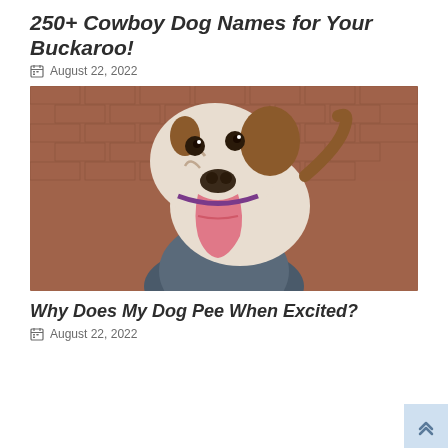250+ Cowboy Dog Names for Your Buckaroo!
August 22, 2022
[Figure (photo): A bulldog with its tongue out being held up by a person against a red brick wall background]
Why Does My Dog Pee When Excited?
August 22, 2022